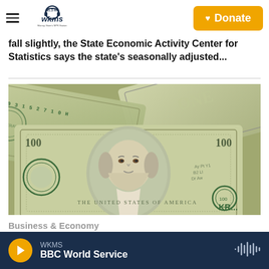WKMS 91.3 fm - Murray State's NPR Station | Donate
...fall slightly, the State Economic Activity Center for Statistics says the state's seasonally adjusted...
[Figure (photo): Close-up photo of US hundred dollar bills fanned out, showing Benjamin Franklin's portrait and serial number 2009315271 0H, with KR... visible at bottom right]
Business & Economy
WKMS | BBC World Service